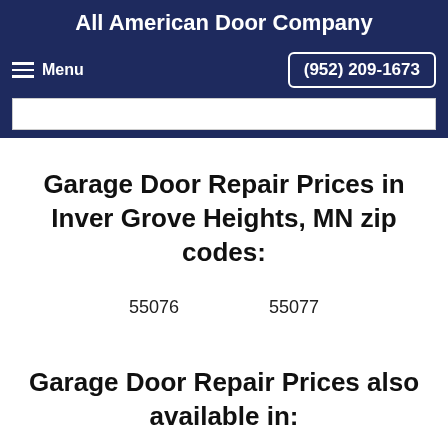All American Door Company
Menu  (952) 209-1673
Garage Door Repair Prices in Inver Grove Heights, MN zip codes:
55076    55077
Garage Door Repair Prices also available in: